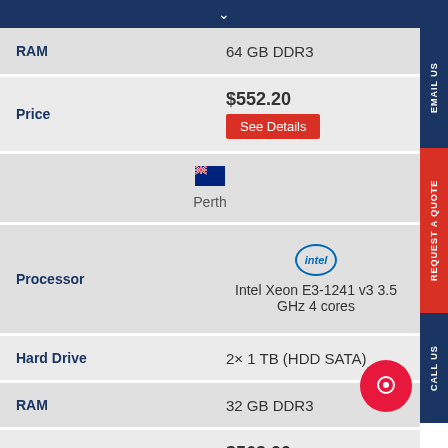Navigation chevron
| Attribute | Value |
| --- | --- |
| RAM | 64 GB DDR3 |
| Price | $552.20 | See Details |
| Location | Perth |
| Processor | Intel Xeon E3-1241 v3 3.5 GHz 4 cores |
| Hard Drive | 2× 1 TB (HDD SATA) |
| RAM | 32 GB DDR3 |
| Price | $563.00 | See Details |